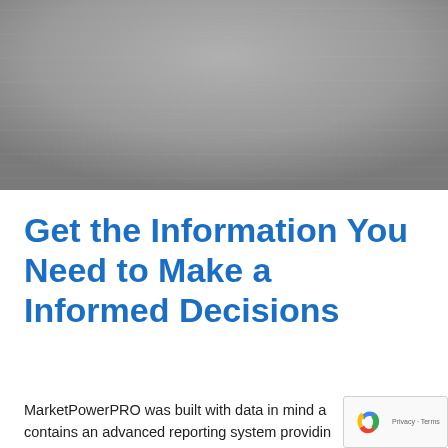[Figure (photo): Gray textured background photo filling the top portion of the page]
Get the Information You Need to Make a Informed Decisions
MarketPowerPRO was built with data in mind and contains an advanced reporting system providing insights to...